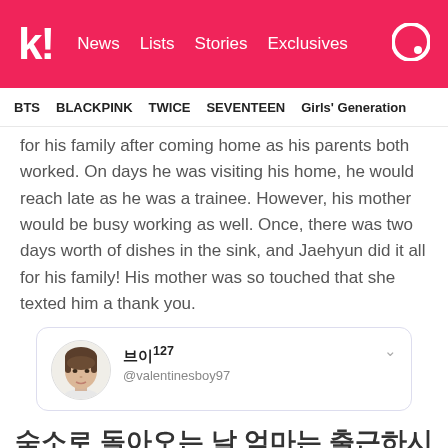k! News Lists Stories Exclusives
BTS BLACKPINK TWICE SEVENTEEN Girls' Generation
for his family after coming home as his parents both worked. On days he was visiting his home, he would reach late as he was a trainee. However, his mother would be busy working as well. Once, there was two days worth of dishes in the sink, and Jaehyun did it all for his family! His mother was so touched that she texted him a thank you.
[Figure (screenshot): Tweet from @valentinesboy97 with display name 브이127, showing avatar of a young man with bowl cut]
숙소로 돌아오는 날 엄마는 출근하시구